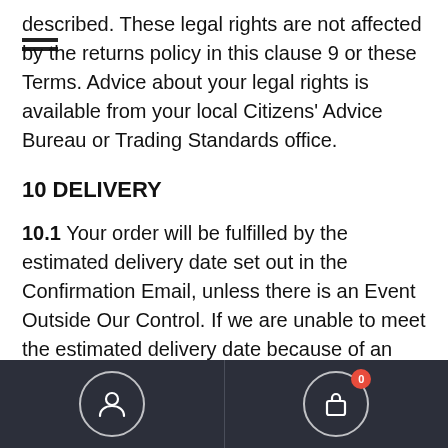described. These legal rights are not affected by the returns policy in this clause 9 or these Terms. Advice about your legal rights is available from your local Citizens' Advice Bureau or Trading Standards office.
10 DELIVERY
10.1 Your order will be fulfilled by the estimated delivery date set out in the Confirmation Email, unless there is an Event Outside Our Control. If we are unable to meet the estimated delivery date because of an Event Outside Our Control, we will contact you with a revised estimated delivery date.